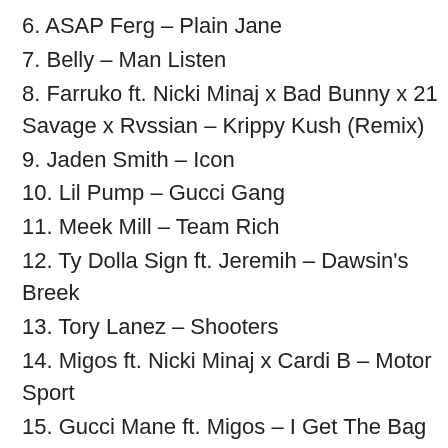6. ASAP Ferg – Plain Jane
7. Belly – Man Listen
8. Farruko ft. Nicki Minaj x Bad Bunny x 21 Savage x Rvssian – Krippy Kush (Remix)
9. Jaden Smith – Icon
10. Lil Pump – Gucci Gang
11. Meek Mill – Team Rich
12. Ty Dolla Sign ft. Jeremih – Dawsin's Breek
13. Tory Lanez – Shooters
14. Migos ft. Nicki Minaj x Cardi B – Motor Sport
15. Gucci Mane ft. Migos – I Get The Bag
16. Nasty C ft. French Montana – Allow
17. Rich The Kid ft. Kendrick Lemar – New